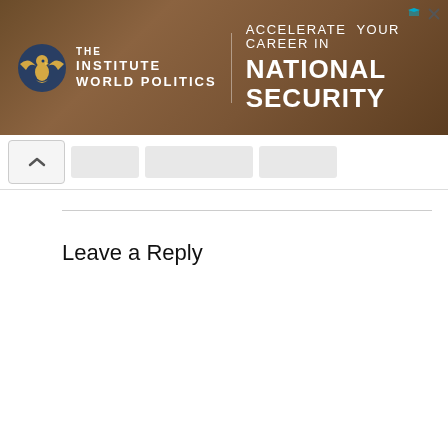[Figure (other): Advertisement banner for The Institute of World Politics — brown/tan textured background with eagle logo, institute name, and text 'ACCELERATE YOUR CAREER IN NATIONAL SECURITY'. Close/ad-choice icons in top right.]
Leave a Reply